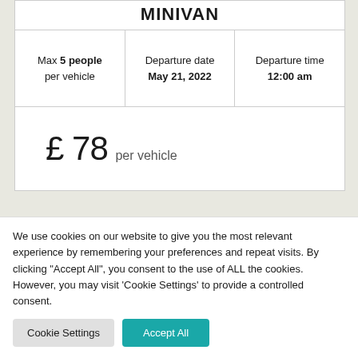MINIVAN
| Max 5 people per vehicle | Departure date May 21, 2022 | Departure time 12:00 am |
| --- | --- | --- |
£ 78 per vehicle
We use cookies on our website to give you the most relevant experience by remembering your preferences and repeat visits. By clicking "Accept All", you consent to the use of ALL the cookies. However, you may visit 'Cookie Settings' to provide a controlled consent.
Cookie Settings | Accept All